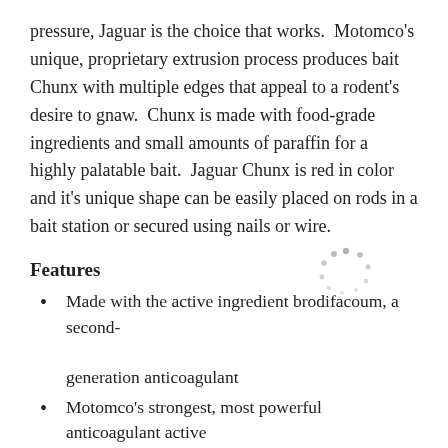pressure, Jaguar is the choice that works. Motomco's unique, proprietary extrusion process produces bait Chunx with multiple edges that appeal to a rodent's desire to gnaw. Chunx is made with food-grade ingredients and small amounts of paraffin for a highly palatable bait. Jaguar Chunx is red in color and it's unique shape can be easily placed on rods in a bait station or secured using nails or wire.
Features
[Figure (other): Loading spinner graphic — circular arrangement of dots]
Made with the active ingredient brodifacoum, a second-generation anticoagulant
Motomco's strongest, most powerful anticoagulant active
Excellent for areas of heavy rodent pressure and tough, hard to control infestations
Motomco's #1 selling bait brand with poultry and swine